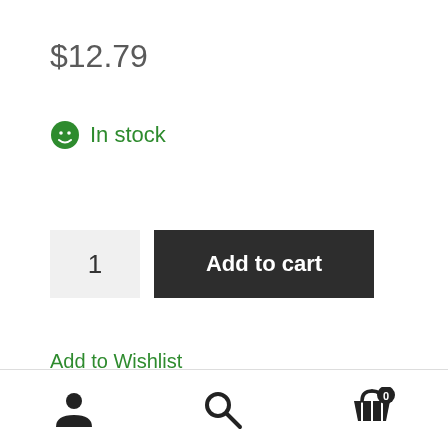$12.79
In stock
1
Add to cart
Add to Wishlist
SKU: 733739075468
User / Search / Cart (0)